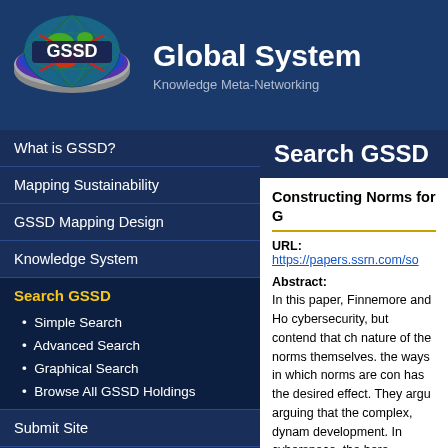[Figure (logo): GSSD circular logo with globe grid pattern in green/yellow/red and text 'GSSD' in white on dark background, with metallic ring border]
Global System
Knowledge Meta-Networking
Search GSSD
What is GSSD?
Mapping Sustainability
GSSD Mapping Design
Knowledge System
Search GSSD
Simple Search
Advanced Search
Graphical Search
Browse All GSSD Holdings
Submit Site
Research and Reports
Contact GSSD
Constructing Norms for G
URL: https://papers.ssrn.com/so
Abstract: In this paper, Finnemore and Ho cybersecurity, but contend that ch nature of the norms themselves. the ways in which norms are con has the desired effect. They argu arguing that the complex, dynam development. In cyberspace, the here, process is stressed as a m to the choices of norm entrepren choices affect the actors, contex